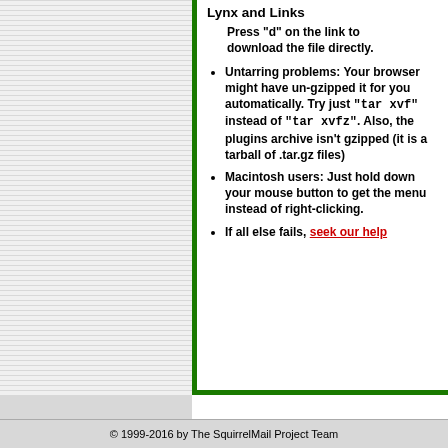Lynx and Links
Press "d" on the link to download the file directly.
Untarring problems: Your browser might have un-gzipped it for you automatically. Try just "tar xvf" instead of "tar xvfz". Also, the plugins archive isn't gzipped (it is a tarball of .tar.gz files)
Macintosh users: Just hold down your mouse button to get the menu instead of right-clicking.
If all else fails, seek our help
© 1999-2016 by The SquirrelMail Project Team